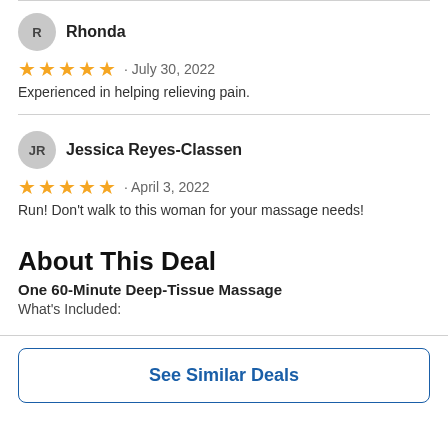R  Rhonda
★★★★★ · July 30, 2022
Experienced in helping relieving pain.
JR  Jessica Reyes-Classen
★★★★★ · April 3, 2022
Run! Don't walk to this woman for your massage needs!
About This Deal
One 60-Minute Deep-Tissue Massage
What's Included:
See Similar Deals